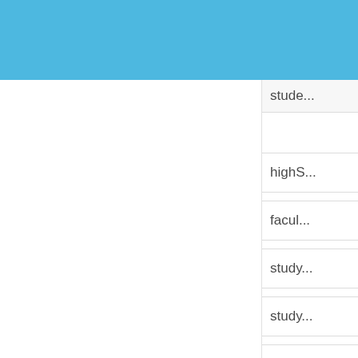[Figure (screenshot): Blue header bar at top of a web or app interface]
stude...
highS...
facul...
study...
study...
profe...